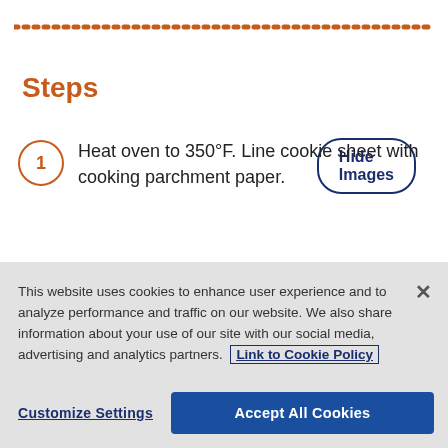Steps
Heat oven to 350°F. Line cookie sheet with cooking parchment paper.
This website uses cookies to enhance user experience and to analyze performance and traffic on our website. We also share information about your use of our site with our social media, advertising and analytics partners. Link to Cookie Policy
Customize Settings
Accept All Cookies